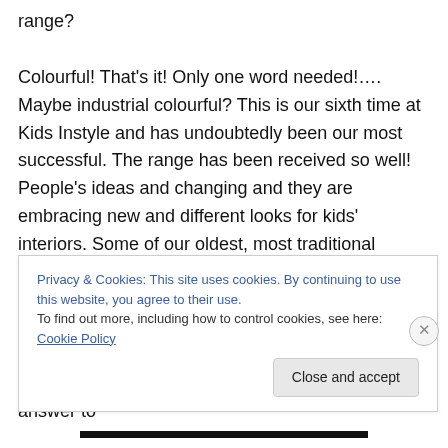range?

Colourful! That's it! Only one word needed!…. Maybe industrial colourful? This is our sixth time at Kids Instyle and has undoubtedly been our most successful. The range has been received so well! People's ideas and changing and they are embracing new and different looks for kids' interiors. Some of our oldest, most traditional stockists have even identified this, snapping up the new range.

Incy has really been on a design journey since starting, initially we leant towards being Australia's answer to
Privacy & Cookies: This site uses cookies. By continuing to use this website, you agree to their use.
To find out more, including how to control cookies, see here: Cookie Policy